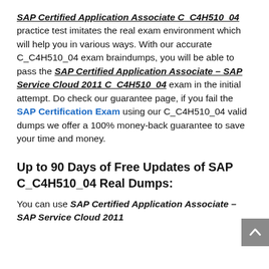SAP Certified Application Associate C_C4H510_04 practice test imitates the real exam environment which will help you in various ways. With our accurate C_C4H510_04 exam braindumps, you will be able to pass the SAP Certified Application Associate – SAP Service Cloud 2011 C_C4H510_04 exam in the initial attempt. Do check our guarantee page, if you fail the SAP Certification Exam using our C_C4H510_04 valid dumps we offer a 100% money-back guarantee to save your time and money.
Up to 90 Days of Free Updates of SAP C_C4H510_04 Real Dumps:
You can use SAP Certified Application Associate – SAP Service Cloud 2011